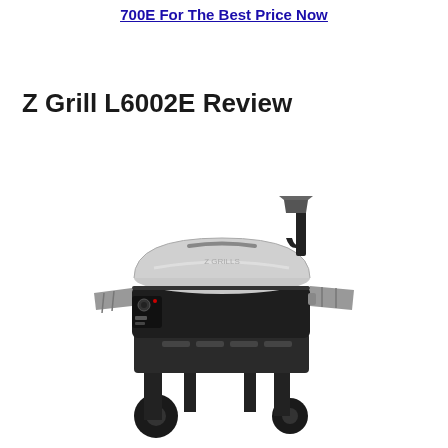700E For The Best Price Now
Z Grill L6002E Review
[Figure (photo): Z Grills L6002E wood pellet grill smoker with silver lid, black body, side shelves, chimney with cap, control panel, storage compartment, and two large wheels. Shown from a front-right angle on white background.]